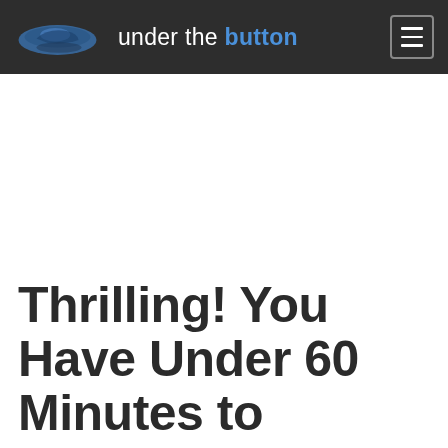under the button
Thrilling! You Have Under 60 Minutes to Complete, Check, Scan, Email,